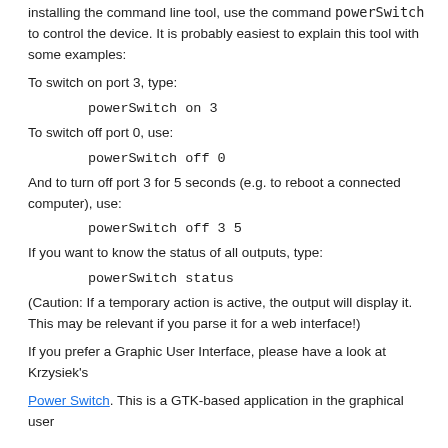installing the command line tool, use the command powerSwitch to control the device. It is probably easiest to explain this tool with some examples:
To switch on port 3, type:
powerSwitch on 3
To switch off port 0, use:
powerSwitch off 0
And to turn off port 3 for 5 seconds (e.g. to reboot a connected computer), use:
powerSwitch off 3 5
If you want to know the status of all outputs, type:
powerSwitch status
(Caution: If a temporary action is active, the output will display it. This may be relevant if you parse it for a web interface!)
If you prefer a Graphic User Interface, please have a look at Krzysiek's